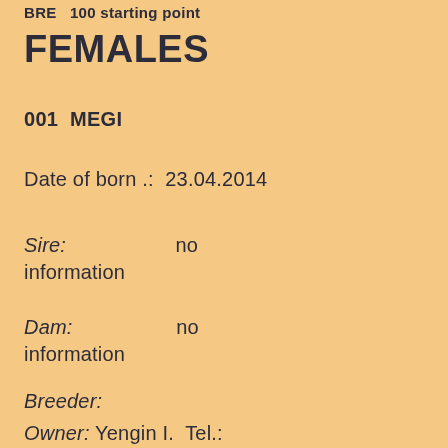BRE  100 starting point
FEMALES
001  MEGI
Date of born .:  23.04.2014
Sire:                    no information
Dam:                    no information
Breeder:
Owner: Yengin I.  Tel.: